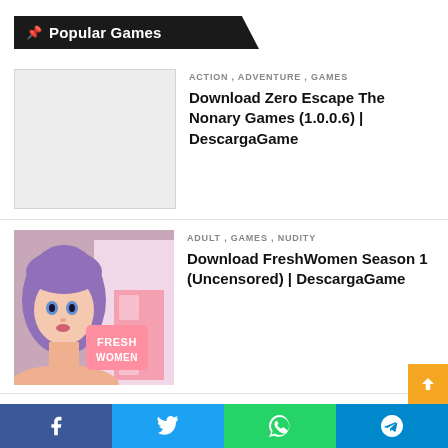📌 Popular Games
[Figure (photo): Light gray placeholder image for Zero Escape The Nonary Games]
ACTION , ADVENTURE , GAMES
Download Zero Escape The Nonary Games (1.0.0.6) | DescargaGame
[Figure (photo): Photo of a young woman with purple hair for FreshWomen game listing]
ADULT , GAMES , NUDITY
Download FreshWomen Season 1 (Uncensored) | DescargaGame
Facebook | Twitter | WhatsApp | Telegram social share buttons